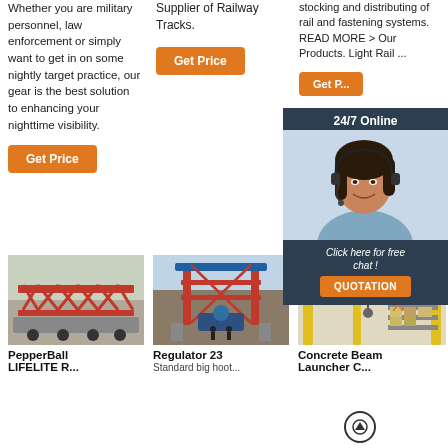Whether you are military personnel, law enforcement or simply want to get in on some nightly target practice, our gear is the best solution to enhancing your nighttime visibility.
Supplier of Railway Tracks.
stocking and distributing of rail and fastening systems. READ MORE > Our Products. Light Rail ...
[Figure (screenshot): 24/7 Online chat widget with woman wearing headset, 'Click here for free chat!' text and QUOTATION button]
[Figure (photo): Large red railway bridge girder on transport truck]
[Figure (photo): Industrial lifting equipment with red frame structure outdoors]
[Figure (photo): Yellow industrial crane system inside warehouse with orange icons]
PepperBall LIFELITE R...
Regulator 23 Standard big hoot...
Concrete Beam Launcher C...